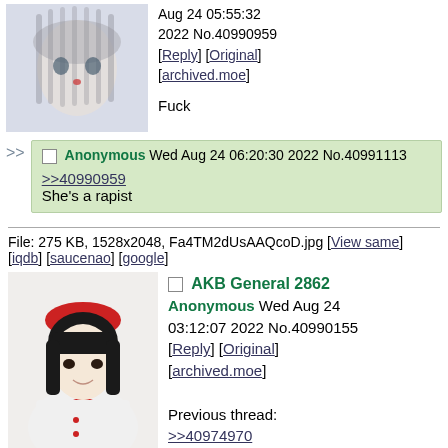[Figure (photo): Blurry anime character with grey hair and red nose]
Aug 24 05:55:32 2022 No.40990959 [Reply] [Original] [archived.moe]

Fuck
>> Anonymous Wed Aug 24 06:20:30 2022 No.40991113
>>40990959
She's a rapist
File: 275 KB, 1528x2048, Fa4TM2dUsAAQcoD.jpg [View same] [iqdb] [saucenao] [google]
[Figure (photo): Young woman wearing red beret and white uniform with red scarf]
AKB General 2862
Anonymous Wed Aug 24 03:12:07 2022 No.40990155
[Reply] [Original] [archived.moe]

Previous thread:
>>40974970